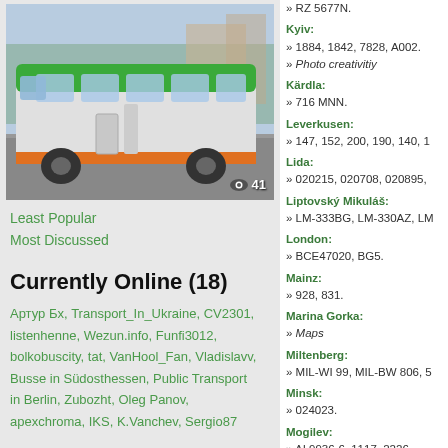[Figure (photo): A green articulated bus (natural gas/electric hybrid) driving on a road, viewed from the front-left. The bus has green roof and orange stripe.]
Least Popular
Most Discussed
Currently Online (18)
Артур Бх, Transport_In_Ukraine, CV2301, listenhenne, Wezun.info, Funfi3012, bolkobuscity, tat, VanHool_Fan, Vladislavv, Busse in Südosthessen, Public Transport in Berlin, Zubozht, Oleg Panov, apexchroma, IKS, K.Vanchev, Sergio87
» RZ 5677N.
Kyiv:
» 1884, 1842, 7828, A002.
» Photo creativitiy
Kärdla:
» 716 MNN.
Leverkusen:
» 147, 152, 200, 190, 140, 1...
Lida:
» 020215, 020708, 020895,...
Liptovský Mikuláš:
» LM-333BG, LM-330AZ, LM...
London:
» BCE47020, BG5.
Mainz:
» 928, 831.
Marina Gorka:
» Maps
Miltenberg:
» MIL-WI 99, MIL-BW 806, 5...
Minsk:
» 024023.
Mogilev:
» AI 9936-6, 1117, 2226.
Molodechno:
» 23503, 23454, AX 2492-5...
Montana:
» 1991.
Moscow:
» 032814, 032920, 032603...